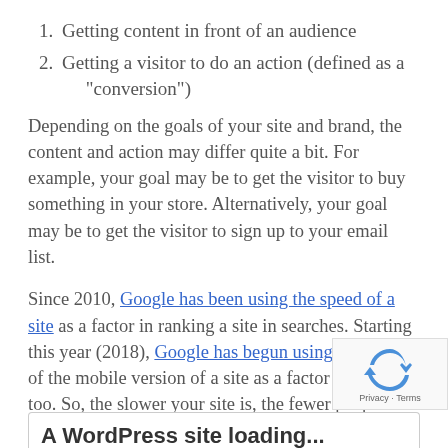Getting content in front of an audience
Getting a visitor to do an action (defined as a “conversion”)
Depending on the goals of your site and brand, the content and action may differ quite a bit. For example, your goal may be to get the visitor to buy something in your store. Alternatively, your goal may be to get the visitor to sign up to your email list.
Since 2010, Google has been using the speed of a site as a factor in ranking a site in searches. Starting this year (2018), Google has begun using the speed of the mobile version of a site as a factor in rankings too. So, the slower your site is, the fewer people that will find your site!
A WordPress site loading...